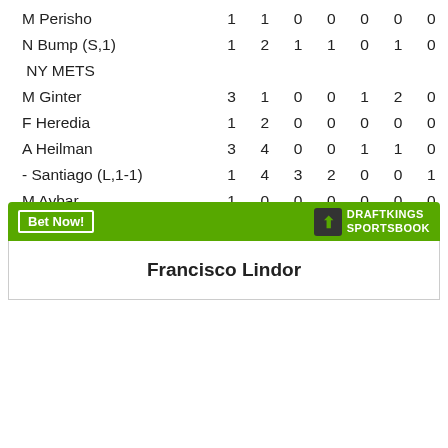| Player | IP | H | R | ER | BB | SO | HR |
| --- | --- | --- | --- | --- | --- | --- | --- |
| M Perisho | 1 | 1 | 0 | 0 | 0 | 0 | 0 |
| N Bump (S,1) | 1 | 2 | 1 | 1 | 0 | 1 | 0 |
|  NY METS |  |  |  |  |  |  |  |
| M Ginter | 3 | 1 | 0 | 0 | 1 | 2 | 0 |
| F Heredia | 1 | 2 | 0 | 0 | 0 | 0 | 0 |
| A Heilman | 3 | 4 | 0 | 0 | 1 | 1 | 0 |
| - Santiago (L,1-1) | 1 | 4 | 3 | 2 | 0 | 0 | 1 |
| M Aybar | 1 | 0 | 0 | 0 | 0 | 0 | 0 |
HBP--M Cameron by I Valdez, M Cairo by J Mecir. SO--FLA: M Lowell, A Gonzalez, C Aguila. NYM: D Garcia. BB--FLA: I Valdez, F Castillo.  T--2:23. A--5,815.
[Figure (infographic): DraftKings Sportsbook banner with Bet Now button and Francisco Lindor player card below]